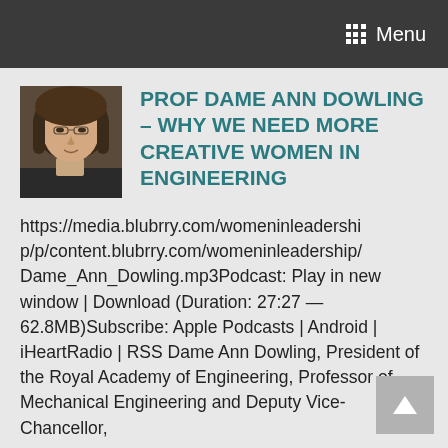Menu
[Figure (photo): Profile photo of Prof Dame Ann Dowling, a woman with short brown hair wearing dark clothing, against a dark background.]
PROF DAME ANN DOWLING – WHY WE NEED MORE CREATIVE WOMEN IN ENGINEERING
https://media.blubrry.com/womeninleadership/p/content.blubrry.com/womeninleadership/Dame_Ann_Dowling.mp3Podcast: Play in new window | Download (Duration: 27:27 — 62.8MB)Subscribe: Apple Podcasts | Android | iHeartRadio | RSS Dame Ann Dowling, President of the Royal Academy of Engineering, Professor of Mechanical Engineering and Deputy Vice-Chancellor,